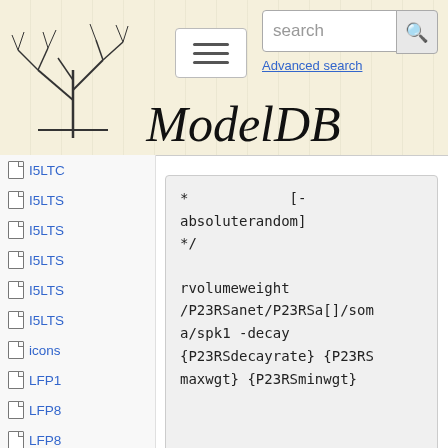[Figure (screenshot): ModelDB website header with logo (tree diagram), hamburger menu, search bar, and site title 'ModelDB' in italic serif font]
I5LTC
I5LTS
I5LTS
I5LTS
I5LTS
I5LTS
icons
LFP1
LFP8
LFP8
LFPli
LFPn
LFPn
Mode
mvap
*                [-absoluterandom]
*/

rvolumeweight /P23RSanet/P23RSa[]/soma/spk1 -decay {P23RSdecayrate} {P23RSmaxwgt} {P23RSminwgt}